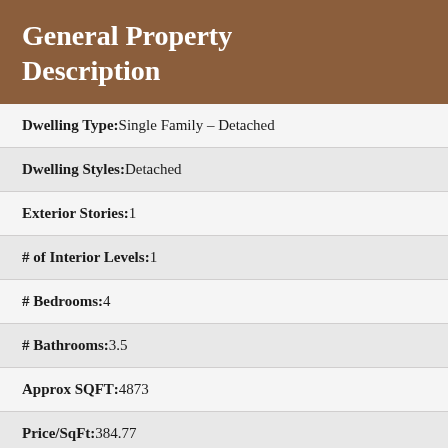General Property Description
| Field | Value |
| --- | --- |
| Dwelling Type | Single Family – Detached |
| Dwelling Styles | Detached |
| Exterior Stories | 1 |
| # of Interior Levels | 1 |
| # Bedrooms | 4 |
| # Bathrooms | 3.5 |
| Approx SQFT | 4873 |
| Price/SqFt | 384.77 |
| Horses | Y |
| Model | Albert Parra Custom |
| Builder Name | CUSTOM |